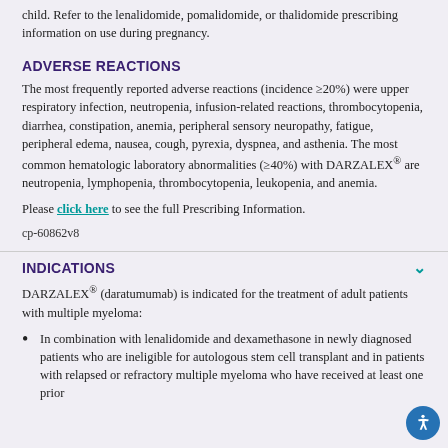child. Refer to the lenalidomide, pomalidomide, or thalidomide prescribing information on use during pregnancy.
ADVERSE REACTIONS
The most frequently reported adverse reactions (incidence ≥20%) were upper respiratory infection, neutropenia, infusion-related reactions, thrombocytopenia, diarrhea, constipation, anemia, peripheral sensory neuropathy, fatigue, peripheral edema, nausea, cough, pyrexia, dyspnea, and asthenia. The most common hematologic laboratory abnormalities (≥40%) with DARZALEX® are neutropenia, lymphopenia, thrombocytopenia, leukopenia, and anemia.
Please click here to see the full Prescribing Information.
cp-60862v8
INDICATIONS
DARZALEX® (daratumumab) is indicated for the treatment of adult patients with multiple myeloma:
In combination with lenalidomide and dexamethasone in newly diagnosed patients who are ineligible for autologous stem cell transplant and in patients with relapsed or refractory multiple myeloma who have received at least one prior